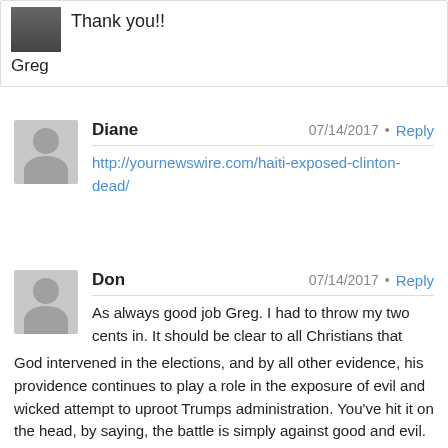Thank you!!
Greg
Diane  07/14/2017  •  Reply
http://yournewswire.com/haiti-exposed-clinton-dead/
Don  07/14/2017  •  Reply
As always good job Greg. I had to throw my two cents in. It should be clear to all Christians that God intervened in the elections, and by all other evidence, his providence continues to play a role in the exposure of evil and wicked attempt to uproot Trumps administration. You've hit it on the head, by saying, the battle is simply against good and evil. And God always uses truth to expose the evil. So, Trump is doing good to ask for prayer, as he fights these forces, because its truly a spiritual battle. It's my prediction, that before Trump's administration ends, we're going to see a radical Christian